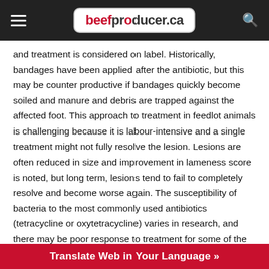beefproducer.ca
and treatment is considered on label. Historically, bandages have been applied after the antibiotic, but this may be counter productive if bandages quickly become soiled and manure and debris are trapped against the affected foot. This approach to treatment in feedlot animals is challenging because it is labour-intensive and a single treatment might not fully resolve the lesion. Lesions are often reduced in size and improvement in lameness score is noted, but long term, lesions tend to fail to completely resolve and become worse again. The susceptibility of bacteria to the most commonly used antibiotics (tetracycline or oxytetracycline) varies in research, and there may be poor response to treatment for some of the bacteria most prevalent in digital dermatitis lesions. Repeating treatment until a return to healthy skin has been achieved may be necessary.
Translate Web in Your Language »